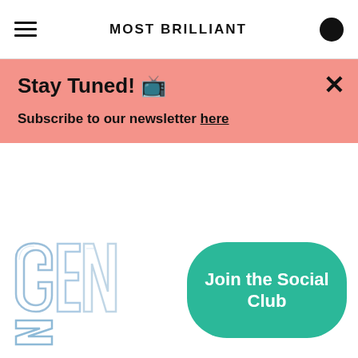MOST BRILLIANT
Stay Tuned! 📺
Subscribe to our newsletter here
[Figure (illustration): Stylized 'GEN Z' text logo rendered as metallic/holographic glassy lettering]
Join the Social Club